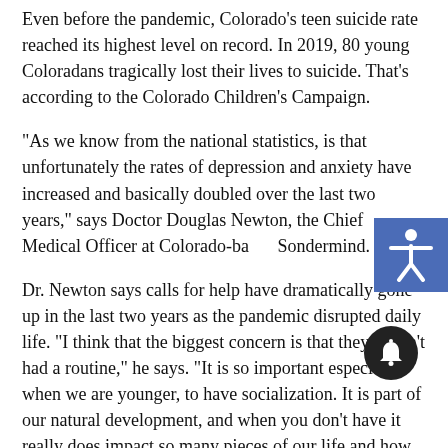Even before the pandemic, Colorado's teen suicide rate reached its highest level on record. In 2019, 80 young Coloradans tragically lost their lives to suicide. That's according to the Colorado Children's Campaign.
"As we know from the national statistics, is that unfortunately the rates of depression and anxiety have increased and basically doubled over the last two years," says Doctor Douglas Newton, the Chief Medical Officer at Colorado-based Sondermind.
Dr. Newton says calls for help have dramatically gone up in the last two years as the pandemic disrupted daily life. "I think that the biggest concern is that they haven't had a routine," he says. "It is so important especially, when we are younger, to have socialization. It is part of our natural development, and when you don't have it really does impact so many pieces of our life and how we feel."
And for many, the new COVID-19 routine took them out of